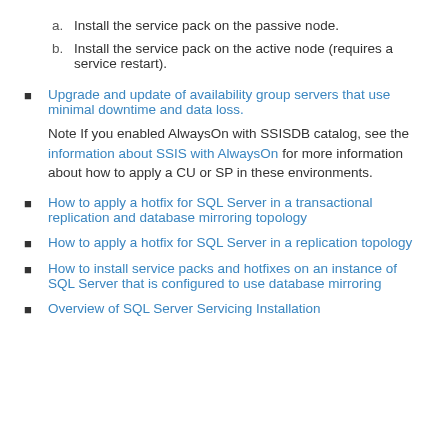a.  Install the service pack on the passive node.
b.  Install the service pack on the active node (requires a service restart).
Upgrade and update of availability group servers that use minimal downtime and data loss.
Note If you enabled AlwaysOn with SSISDB catalog, see the information about SSIS with AlwaysOn for more information about how to apply a CU or SP in these environments.
How to apply a hotfix for SQL Server in a transactional replication and database mirroring topology
How to apply a hotfix for SQL Server in a replication topology
How to install service packs and hotfixes on an instance of SQL Server that is configured to use database mirroring
Overview of SQL Server Servicing Installation